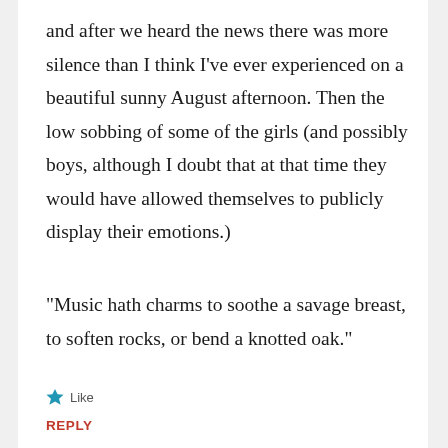and after we heard the news there was more silence than I think I've ever experienced on a beautiful sunny August afternoon. Then the low sobbing of some of the girls (and possibly boys, although I doubt that at that time they would have allowed themselves to publicly display their emotions.)
“Music hath charms to soothe a savage breast, to soften rocks, or bend a knotted oak.”
Like
REPLY